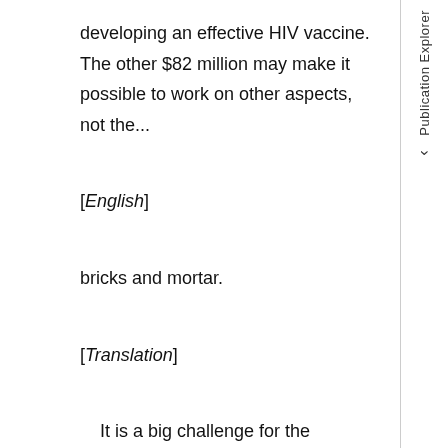developing an effective HIV vaccine. The other $82 million may make it possible to work on other aspects, not the...
[English]
bricks and mortar.
[Translation]
It is a big challenge for the scientific community. There is a possibility of a vaccine, but while we are waiting, there may be a lot of surprises.
[English]